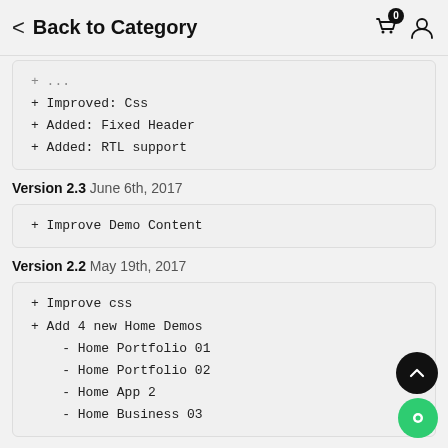Back to Category
+ Improved: Css
+ Added: Fixed Header
+ Added: RTL support
Version 2.3 June 6th, 2017
+ Improve Demo Content
Version 2.2 May 19th, 2017
+ Improve css
+ Add 4 new Home Demos
- Home Portfolio 01
- Home Portfolio 02
- Home App 2
- Home Business 03